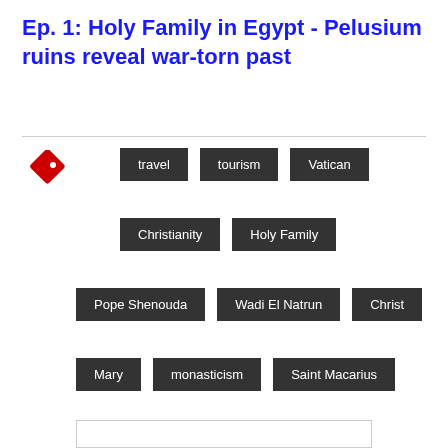Ep. 1: Holy Family in Egypt - Pelusium ruins reveal war-torn past
travel
tourism
Vatican
Christianity
Holy Family
Pope Shenouda
Wadi El Natrun
Christ
Mary
monasticism
Saint Macarius